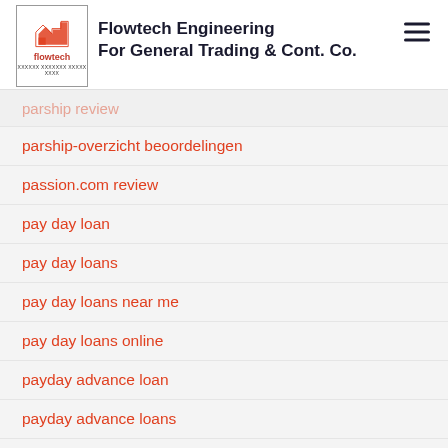Flowtech Engineering For General Trading & Cont. Co.
parship review
parship-overzicht beoordelingen
passion.com review
pay day loan
pay day loans
pay day loans near me
pay day loans online
payday advance loan
payday advance loans
payday advance loans near me
payday loan
payday loan app